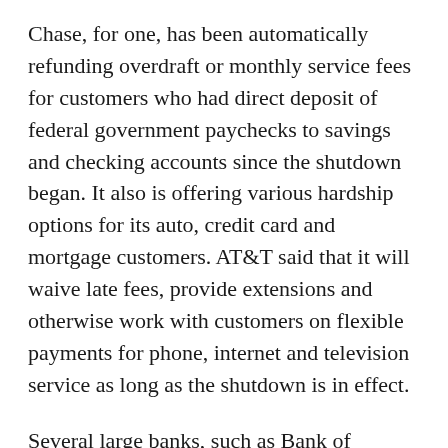Chase, for one, has been automatically refunding overdraft or monthly service fees for customers who had direct deposit of federal government paychecks to savings and checking accounts since the shutdown began. It also is offering various hardship options for its auto, credit card and mortgage customers. AT&T said that it will waive late fees, provide extensions and otherwise work with customers on flexible payments for phone, internet and television service as long as the shutdown is in effect.
Several large banks, such as Bank of America and Wells Fargo, are also making their hardship programs available to federal workers and others hurt by the shutdown. The terms vary but typically include options for delayed payment, waived fees or loan modifications